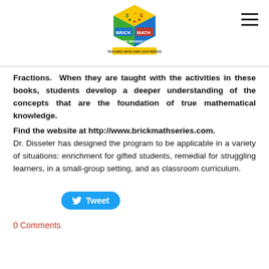[Figure (logo): Brick Math logo - a colorful cube with math symbols and the words BRICK MATH, TEACHING MATH, OUR LEGO BRICKS]
Fractions.  When they are taught with the activities in these books, students develop a deeper understanding of the concepts that are the foundation of true mathematical knowledge.
Find the website at http://www.brickmathseries.com.
Dr. Disseler has designed the program to be applicable in a variety of situations: enrichment for gifted students, remedial for struggling learners, in a small-group setting, and as classroom curriculum.
Tweet
0 Comments